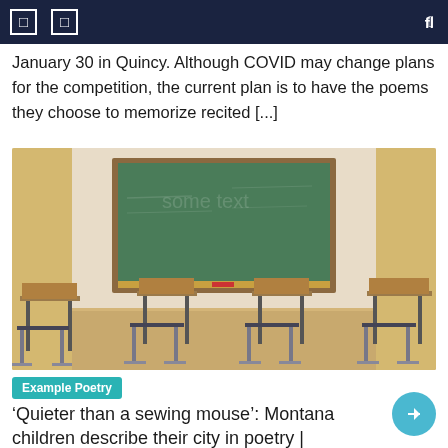January 30 in Quincy. Although COVID may change plans for the competition, the current plan is to have the poems they choose to memorize recited [...]
[Figure (photo): Empty classroom with school desks and chairs arranged in rows facing a large green chalkboard on the wall. Wood-paneled walls and light wood floor visible.]
Example Poetry
'Quieter than a sewing mouse': Montana children describe their city in poetry |